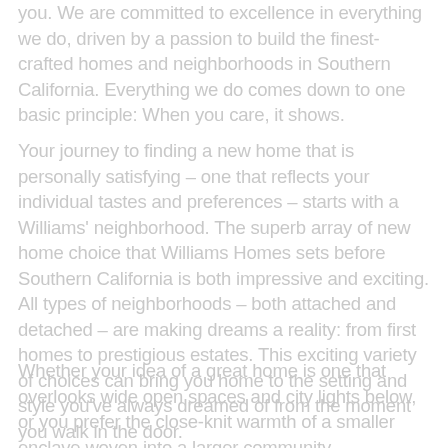you. We are committed to excellence in everything we do, driven by a passion to build the finest-crafted homes and neighborhoods in Southern California. Everything we do comes down to one basic principle: When you care, it shows.
Your journey to finding a new home that is personally satisfying – one that reflects your individual tastes and preferences – starts with a Williams' neighborhood. The superb array of new home choice that Williams Homes sets before Southern California is both impressive and exciting. All types of neighborhoods – both attached and detached – are making dreams a reality: from first homes to prestigious estates. This exciting variety of choices can bring you home to the setting and style you've always dreamed of from the moment you walk in the door.
Whether your idea of a great home is one that overlooks wide open spaces and city lights below, or you prefer the close-knit warmth of a smaller enclave woven into a larger community